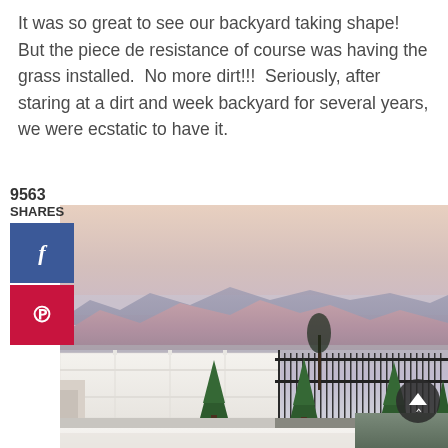It was so great to see our backyard taking shape!  But the piece de resistance of course was having the grass installed.  No more dirt!!!  Seriously, after staring at a dirt and week backyard for several years, we were ecstatic to have it.
9563
SHARES
[Figure (photo): Backyard scene at dusk showing a white vinyl fence, small evergreen trees (cypress/arborvitae), a black metal railing fence on the right side, mountains in the background with pink/purple hues, and what appears to be a pool edge at the bottom. Social media share buttons (Facebook blue and Pinterest red) are overlaid on the left side.]